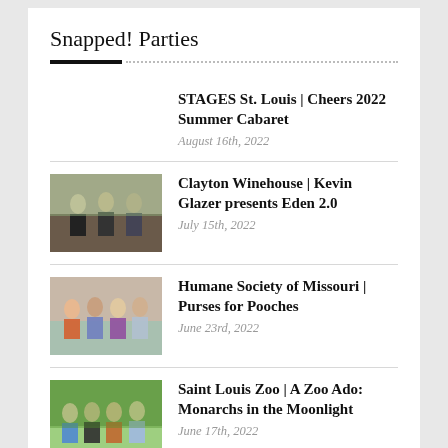Snapped! Parties
STAGES St. Louis | Cheers 2022 Summer Cabaret — August 16th, 2022
Clayton Winehouse | Kevin Glazer presents Eden 2.0 — July 15th, 2022
Humane Society of Missouri | Purses for Pooches — June 23rd, 2022
Saint Louis Zoo | A Zoo Ado: Monarchs in the Moonlight — June 17th, 2022